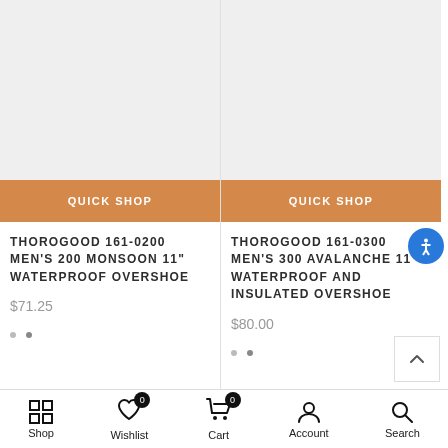[Figure (screenshot): Product image placeholder - gray background for Thorogood 161-0200]
QUICK SHOP
THOROGOOD 161-0200 MEN'S 200 MONSOON 11" WATERPROOF OVERSHOE
$71.25
[Figure (screenshot): Product image placeholder - gray background for Thorogood 161-0300]
QUICK SHOP
THOROGOOD 161-0300 MEN'S 300 AVALANCHE 11" WATERPROOF AND INSULATED OVERSHOE
$80.00
Shop  Wishlist  Cart  Account  Search